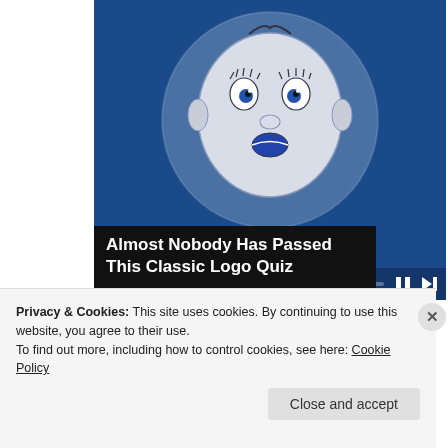[Figure (screenshot): Video player screenshot showing a baby face illustration on dark blue background with play controls at bottom]
Almost Nobody Has Passed This Classic Logo Quiz
[Figure (photo): Thumbnail photo of Kevin Durant basketball player]
List of Kevin Durant suitors narrowed after Thursday's blockbuster
Privacy & Cookies: This site uses cookies. By continuing to use this website, you agree to their use.
To find out more, including how to control cookies, see here: Cookie Policy
Close and accept